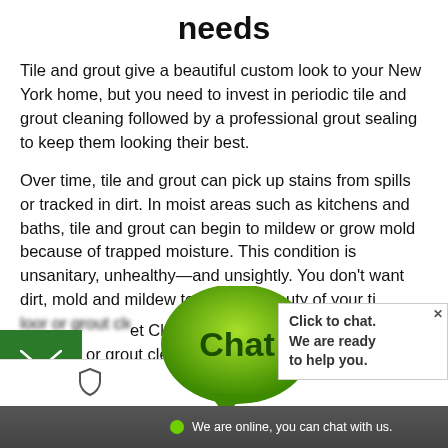needs
Tile and grout give a beautiful custom look to your New York home, but you need to invest in periodic tile and grout cleaning followed by a professional grout sealing to keep them looking their best.
Over time, tile and grout can pick up stains from spills or tracked in dirt. In moist areas such as kitchens and baths, tile and grout can begin to mildew or grow mold because of trapped moisture. This condition is unsanitary, unhealthy—and unsightly. You don't want dirt, mold and mildew to ruin the beauty of your ti...pet Clean Woodside cleaning or grout cleaning.
[Figure (screenshot): Chat widget overlay at bottom of page: green email icon, green chat bubble with 'Chat' text, 'Click to chat. We are ready to help you.' white box, and dark bottom bar reading 'We are online, you can chat with us.']